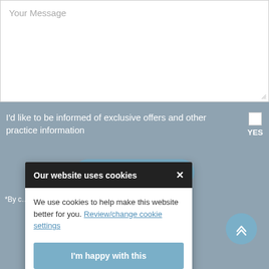[Figure (screenshot): A textarea form field with placeholder text 'Your Message' on a grey background]
I'd like to be informed of exclusive offers and other practice information
YES
SEND MESSAGE
*By c... ng, and storing your details.
Our website uses cookies
We use cookies to help make this website better for you. Review/change cookie settings
I'm happy with this